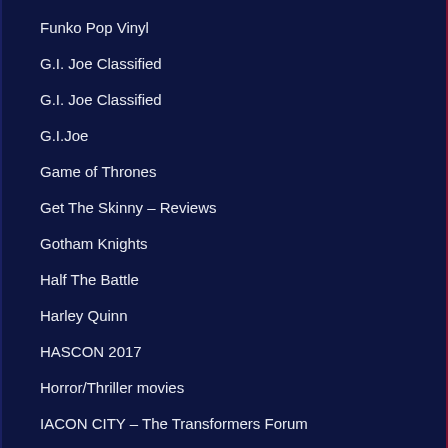Funko Pop Vinyl
G.I. Joe Classified
G.I. Joe Classified
G.I.Joe
Game of Thrones
Get The Skinny – Reviews
Gotham Knights
Half The Battle
Harley Quinn
HASCON 2017
Horror/Thriller movies
IACON CITY – The Transformers Forum
Interviews
Interviews
Interviews